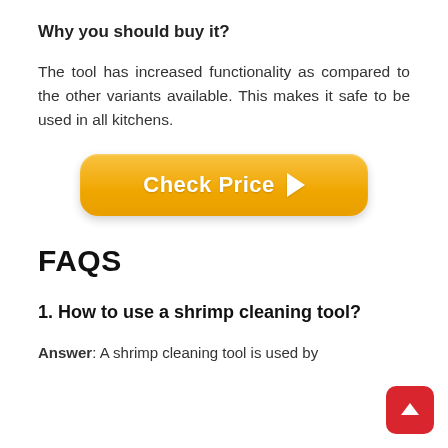Why you should buy it?
The tool has increased functionality as compared to the other variants available. This makes it safe to be used in all kitchens.
[Figure (other): Orange 'Check Price' button with right-pointing arrow]
FAQS
1. How to use a shrimp cleaning tool?
Answer: A shrimp cleaning tool is used by inserting it into the shrimp. Then after it is